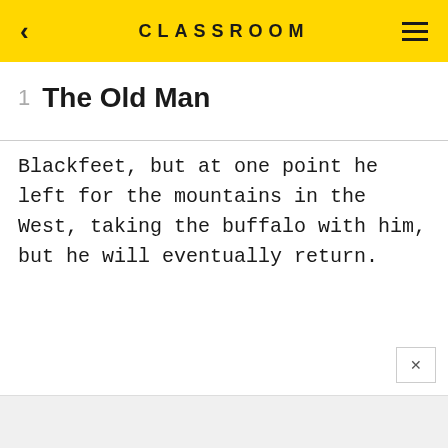CLASSROOM
1   The Old Man
Blackfeet, but at one point he left for the mountains in the West, taking the buffalo with him, but he will eventually return.